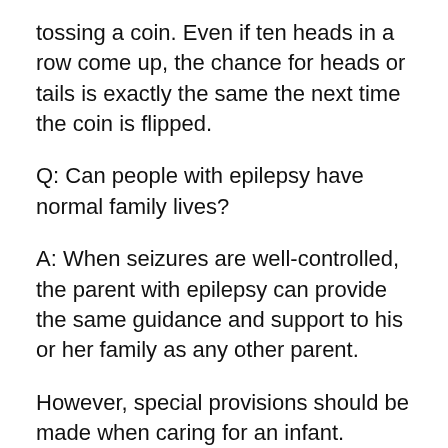tossing a coin. Even if ten heads in a row come up, the chance for heads or tails is exactly the same the next time the coin is flipped.
Q: Can people with epilepsy have normal family lives?
A: When seizures are well-controlled, the parent with epilepsy can provide the same guidance and support to his or her family as any other parent.
However, special provisions should be made when caring for an infant.